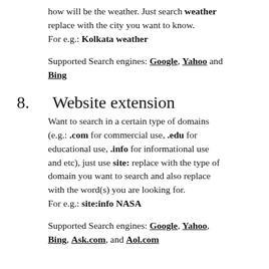how will be the weather. Just search weather replace with the city you want to know. For e.g.: Kolkata weather
Supported Search engines: Google, Yahoo and Bing
8.  Website extension
Want to search in a certain type of domains (e.g.: .com for commercial use, .edu for educational use, .info for informational use and etc), just use site: replace with the type of domain you want to search and also replace with the word(s) you are looking for. For e.g.: site:info NASA
Supported Search engines: Google, Yahoo, Bing, Ask.com, and Aol.com